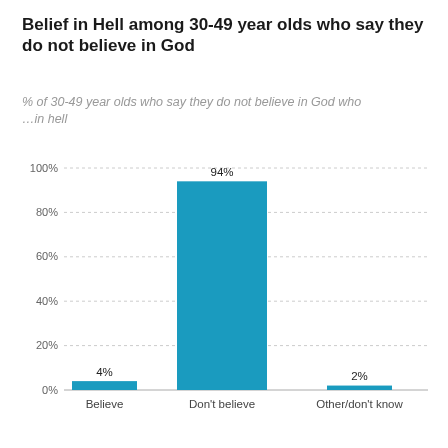Belief in Hell among 30-49 year olds who say they do not believe in God
% of 30-49 year olds who say they do not believe in God who …in hell
[Figure (bar-chart): Belief in Hell among 30-49 year olds who say they do not believe in God]